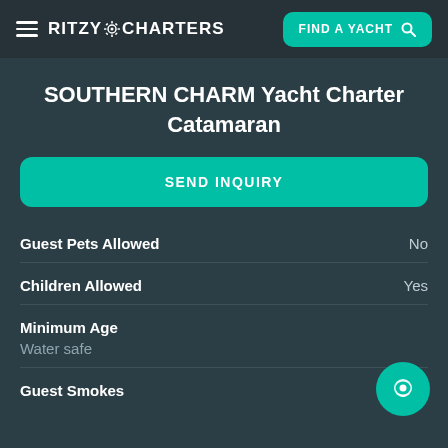RITZY CHARTERS  FIND A YACHT
SOUTHERN CHARM Yacht Charter Catamaran
SEND INQUIRY
Guest Pets Allowed  No
Children Allowed  Yes
Minimum Age
Water safe
Guest Smokes